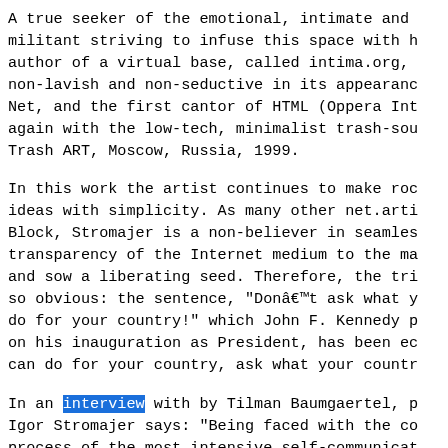A true seeker of the emotional, intimate and militant striving to infuse this space with h author of a virtual base, called intima.org, non-lavish and non-seductive in its appearanc Net, and the first cantor of HTML (Oppera Int again with the low-tech, minimalist trash-sou Trash ART, Moscow, Russia, 1999.
In this work the artist continues to make roc ideas with simplicity. As many other net.arti Block, Stromajer is a non-believer in seamles transparency of the Internet medium to the ma and sow a liberating seed. Therefore, the tri so obvious: the sentence, "Donât ask what y do for your country!" which John F. Kennedy p on his inauguration as President, has been ec can do for your country, ask what your countr
In an interview with by Tilman Baumgaertel, p Igor Stromajer says: "Being faced with the co process of the most intensive self-communicat